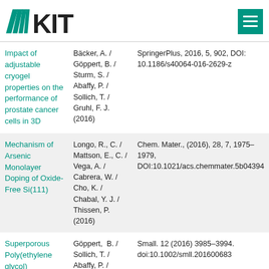KIT logo and navigation menu
| Title | Authors | Publication |
| --- | --- | --- |
| Impact of adjustable cryogel properties on the performance of prostate cancer cells in 3D | Bäcker, A. / Göppert, B. / Sturm, S. / Abaffy, P. / Sollich, T. / Gruhl, F. J. (2016) | SpringerPlus, 2016, 5, 902, DOI: 10.1186/s40064-016-2629-z |
| Mechanism of Arsenic Monolayer Doping of Oxide-Free Si(111) | Longo, R., C. / Mattson, E., C. / Vega, A. / Cabrera, W. / Cho, K. / Chabal, Y. J. / Thissen, P. (2016) | Chem. Mater., (2016), 28, 7, 1975–1979, DOI:10.1021/acs.chemmater.5b04394 |
| Superporous Poly(ethylene glycol) Diacrylate Cryogel with a Defined Elastic Modulus for Prostate Cancer Cell Research | Göppert, B. / Sollich, T. / Abaffy, P. / Cecilia, A. / Heckmann, J. / Neeb, A. / Bäcker, A. / Baumbach, T. / Gruhl, F., J. / Cato, A., C., B. (2016) | Small. 12 (2016) 3985–3994. doi:10.1002/smll.201600683 |